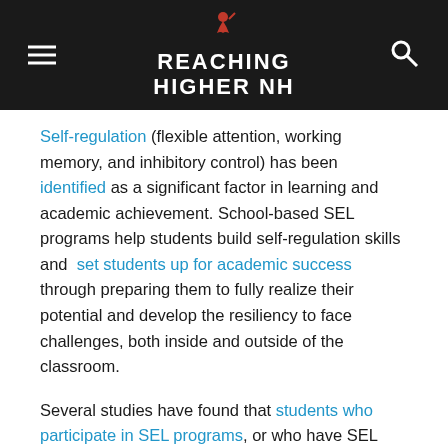Reaching Higher NH
Self-regulation (flexible attention, working memory, and inhibitory control) has been identified as a significant factor in learning and academic achievement. School-based SEL programs help students build self-regulation skills and set students up for academic success through preparing them to fully realize their potential and develop the resiliency to face challenges, both inside and outside of the classroom.
Several studies have found that students who participate in SEL programs, or who have SEL embedded in their academic curriculum, have a 6% increase in high school graduation rates, an 11% increase in college attendance, and an 11% increase in college graduation rates.
Mental Health & Substance Use